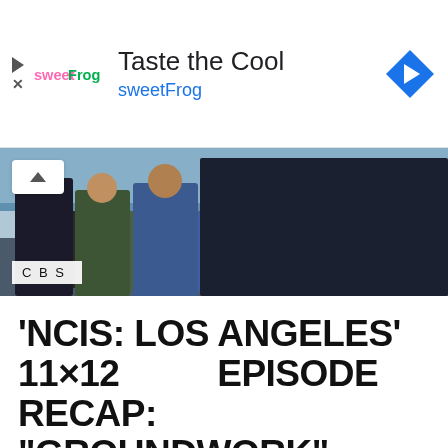[Figure (infographic): SweetFrog advertisement banner with logo, 'Taste the Cool' headline, sweetFrog brand name in blue, play and close controls, and a blue navigation arrow icon]
[Figure (photo): Photo of four people standing outdoors near a dock/waterfront, with CBS logo watermark in the lower left. A scroll-up button is visible in the upper left.]
'NCIS: LOS ANGELES' 11×12 EPISODE RECAP: "GROUNDWORK"
by Elizabeth Learned / January 10, 2020 /
1.63k / 0 comments